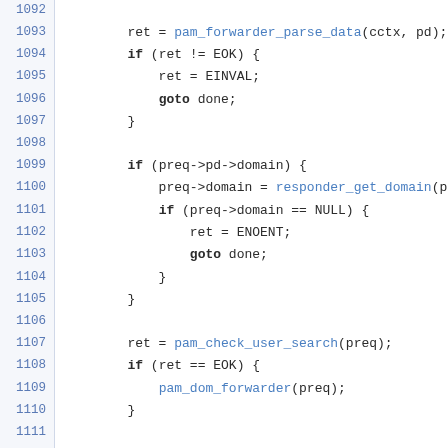[Figure (screenshot): Source code listing lines 1092–1114 showing C code with a PAM forwarder function including conditionals, goto statements, and function calls]